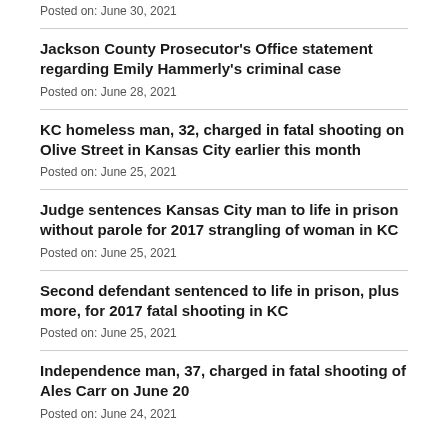Posted on: June 30, 2021
Jackson County Prosecutor's Office statement regarding Emily Hammerly's criminal case
Posted on: June 28, 2021
KC homeless man, 32, charged in fatal shooting on Olive Street in Kansas City earlier this month
Posted on: June 25, 2021
Judge sentences Kansas City man to life in prison without parole for 2017 strangling of woman in KC
Posted on: June 25, 2021
Second defendant sentenced to life in prison, plus more, for 2017 fatal shooting in KC
Posted on: June 25, 2021
Independence man, 37, charged in fatal shooting of Ales Carr on June 20
Posted on: June 24, 2021